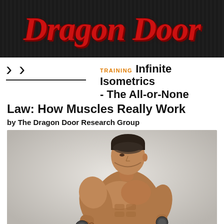Dragon Door
TRAINING  Infinite Isometrics - The All-or-None Law: How Muscles Really Work
Law: How Muscles Really Work
by The Dragon Door Research Group
[Figure (photo): A muscular shirtless man with tattoos sitting and holding exercise handles connected by a chain, photographed against a light gray background]